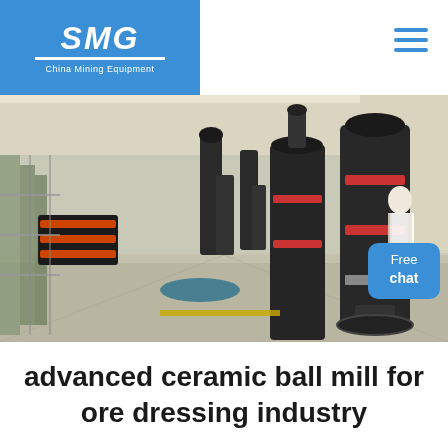[Figure (logo): SMG China Mining Equipment logo on blue background, top left]
[Figure (photo): Industrial mining equipment facility interior showing tall dark cylindrical grinding/milling machines in a large warehouse with high ceilings and natural light. A person in white lab coat is visible on the right side. A 'Free chat' button appears in the lower right of the image.]
advanced ceramic ball mill for ore dressing industry